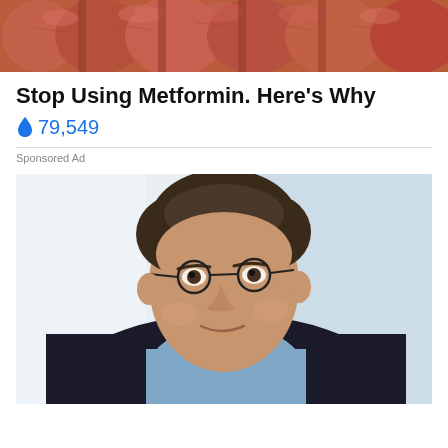[Figure (photo): Close-up photo of fingers/hand with reddish skin texture at the top of the page]
Stop Using Metformin. Here's Why
🔥 79,549
Sponsored Ad
[Figure (photo): Portrait photo of a middle-aged man with glasses and dark brown hair wearing a dark blazer and light blue shirt, shown from the chest up against a bright window background]